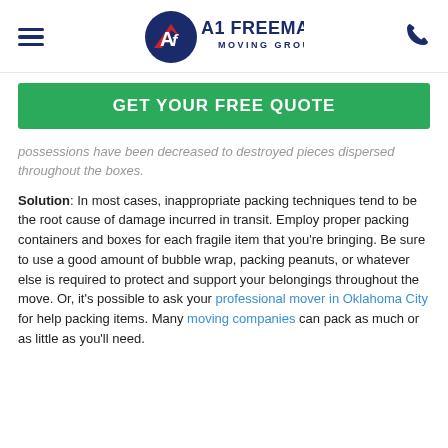A1 Freeman Moving Group — navigation header with hamburger menu, logo, and phone icon
GET YOUR FREE QUOTE
possessions have been decreased to destroyed pieces dispersed throughout the boxes.
Solution: In most cases, inappropriate packing techniques tend to be the root cause of damage incurred in transit. Employ proper packing containers and boxes for each fragile item that you're bringing. Be sure to use a good amount of bubble wrap, packing peanuts, or whatever else is required to protect and support your belongings throughout the move. Or, it's possible to ask your professional mover in Oklahoma City for help packing items. Many moving companies can pack as much or as little as you'll need.